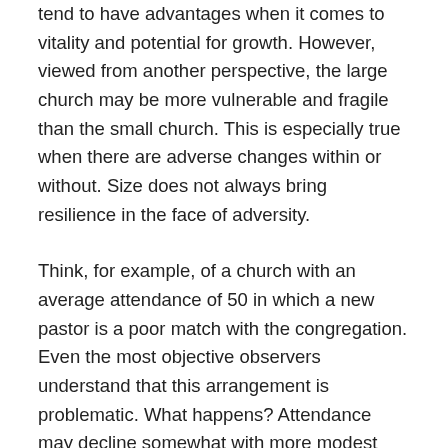tend to have advantages when it comes to vitality and potential for growth. However, viewed from another perspective, the large church may be more vulnerable and fragile than the small church. This is especially true when there are adverse changes within or without. Size does not always bring resilience in the face of adversity.
Think, for example, of a church with an average attendance of 50 in which a new pastor is a poor match with the congregation. Even the most objective observers understand that this arrangement is problematic. What happens? Attendance may decline somewhat with more modest declines in giving. Now, think of this happening in a congregation that